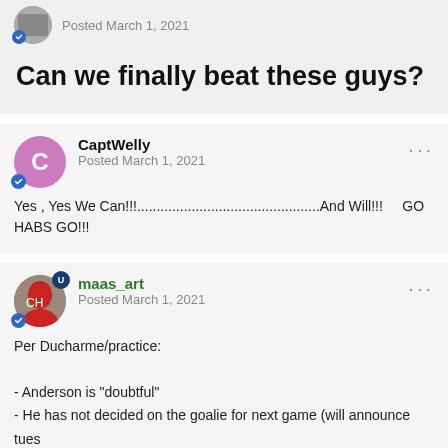Posted March 1, 2021
Can we finally beat these guys?
CaptWelly
Posted March 1, 2021

Yes , Yes We Can!!!...............................................And Will!!!     GO HABS GO!!!
maas_art
Posted March 1, 2021

Per Ducharme/practice:

- Anderson is "doubtful"
- He has not decided on the goalie for next game (will announce tues